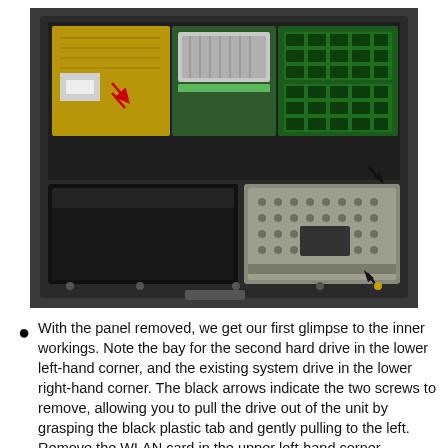[Figure (photo): Laptop opened from the bottom showing internal components: motherboard with green RAM modules on the right, golden PCB on the upper left, a large black bay for a second hard drive in the lower left, and an existing system drive in a metal caddy in the lower right. Two black arrows point to screws on the system drive caddy.]
With the panel removed, we get our first glimpse to the inner workings. Note the bay for the second hard drive in the lower left-hand corner, and the existing system drive in the lower right-hand corner. The black arrows indicate the two screws to remove, allowing you to pull the drive out of the unit by grasping the black plastic tab and gently pulling to the left. Remove the WLAN card in the upper left-hand corner